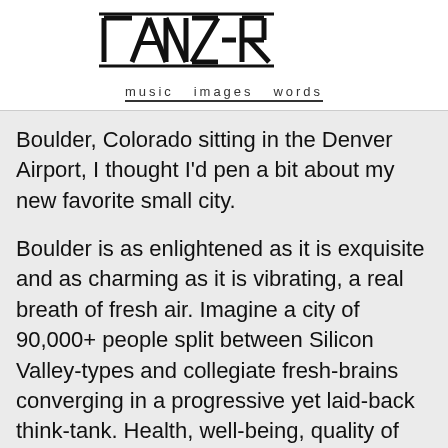[Figure (logo): TANZER logo in bold geometric/angular font with 'music images words' tagline below, underlined on 'words']
Boulder, Colorado sitting in the Denver Airport, I thought I'd pen a bit about my new favorite small city.
Boulder is as enlightened as it is exquisite and as charming as it is vibrating, a real breath of fresh air. Imagine a city of 90,000+ people split between Silicon Valley-types and collegiate fresh-brains converging in a progressive yet laid-back think-tank. Health, well-being, quality of life, education, and art is rampant here and